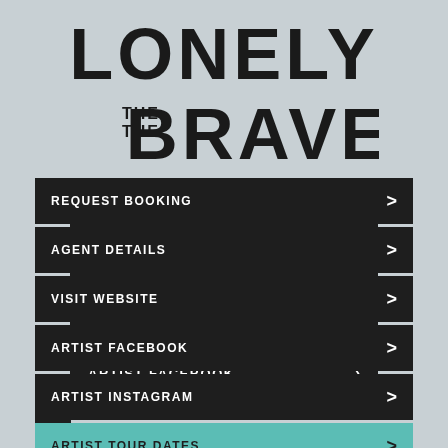[Figure (logo): Lonely the Brave band logo in bold black geometric font on grey background]
REQUEST BOOKING
AGENT DETAILS
VISIT WEBSITE
ARTIST FACEBOOK
ARTIST INSTAGRAM
ARTIST TOUR DATES
SHARE THIS PAGE